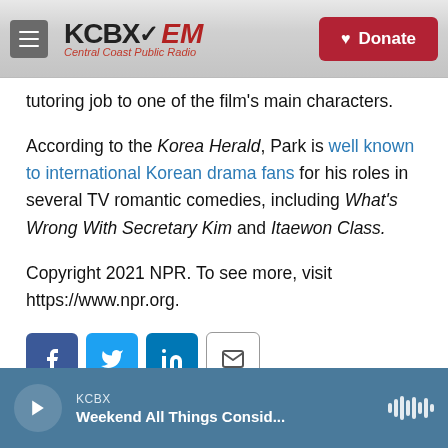KCBX FM Central Coast Public Radio | Donate
tutoring job to one of the film's main characters.
According to the Korea Herald, Park is well known to international Korean drama fans for his roles in several TV romantic comedies, including What's Wrong With Secretary Kim and Itaewon Class.
Copyright 2021 NPR. To see more, visit https://www.npr.org.
[Figure (other): Social sharing buttons: Facebook, Twitter, LinkedIn, Email]
KCBX — Weekend All Things Consid...